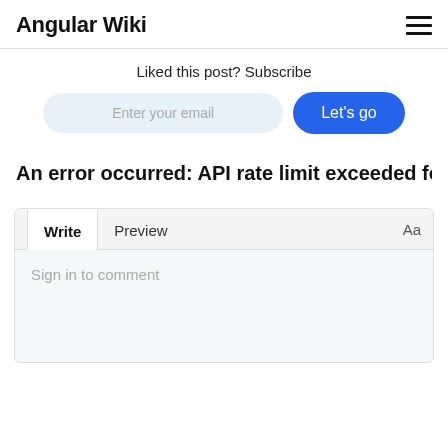Angular Wiki
Liked this post? Subscribe
[Figure (screenshot): Email subscription form with 'Enter your email' input and 'Let's go' blue button]
An error occurred: API rate limit exceeded for arungude
[Figure (screenshot): Comment box with Write and Preview tabs, and 'Sign in to comment' placeholder text]